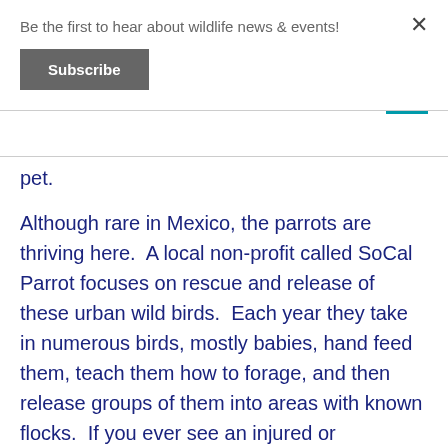Be the first to hear about wildlife news & events!
Subscribe
pet.
Although rare in Mexico, the parrots are thriving here.  A local non-profit called SoCal Parrot focuses on rescue and release of these urban wild birds.  Each year they take in numerous birds, mostly babies, hand feed them, teach them how to forage, and then release groups of them into areas with known flocks.  If you ever see an injured or abandoned